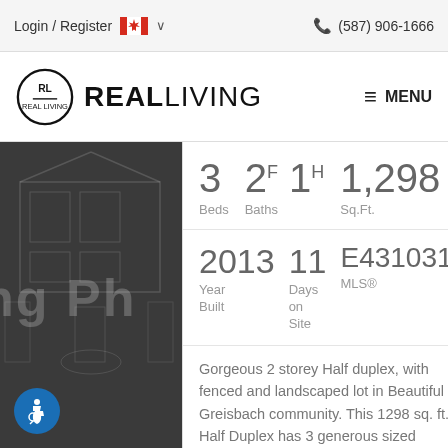Login / Register  (587) 906-1666
[Figure (logo): Real Living logo with RL circle monogram and REALLIVING wordmark]
[Figure (photo): Dark grey architectural blueprint/illustration of a house - partial view showing 'ng Ph' text]
3 Beds  2F 1H Baths  1,298 Sq.Ft.
2013 Year Built  11 Days on Site  E431031 MLS®
Gorgeous 2 storey Half duplex, with fenced and landscaped lot in Beautiful Greisbach community. This 1298 sq. ft. Half Duplex has 3 generous sized bedrooms, ensuite in master bedroom, double detached...